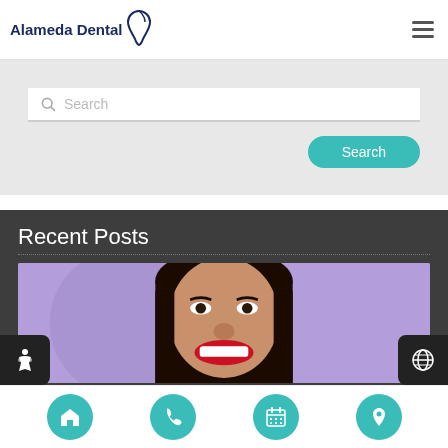[Figure (logo): Alameda Dental logo with tooth icon]
[Figure (screenshot): Search bar with placeholder text 'Search']
[Figure (screenshot): Teal Search button]
Recent Posts
[Figure (photo): Woman smiling with red lipstick and white teeth on purple background]
[Figure (infographic): Bottom navigation bar with home, phone, calendar, and location icons in teal circles]
[Figure (infographic): Accessibility icon button on left side]
[Figure (infographic): Globe icon button on right side]